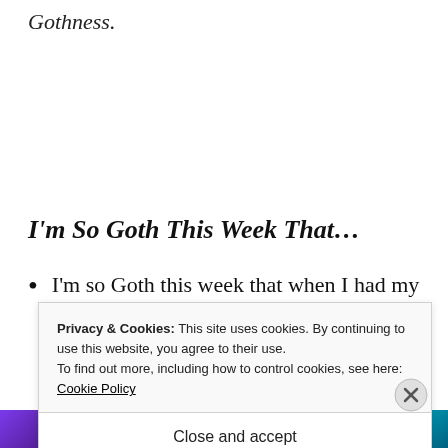Gothness.
I'm So Goth This Week That…
I'm so Goth this week that when I had my third vaccine booster Covid jab (to include
Privacy & Cookies: This site uses cookies. By continuing to use this website, you agree to their use.
To find out more, including how to control cookies, see here: Cookie Policy
Close and accept